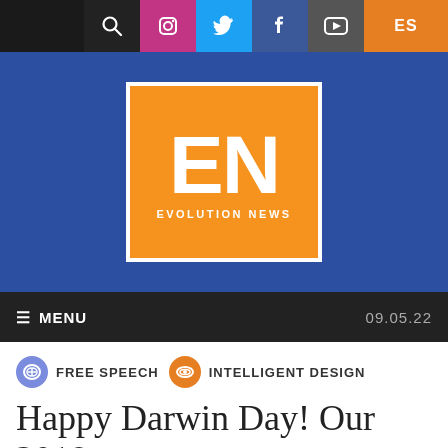[Figure (screenshot): Website navigation top bar with search, Instagram, Twitter, Facebook, YouTube icons and ES language selector]
[Figure (logo): Evolution News logo: orange box with white EN letters and EVOLUTION NEWS text below]
≡ MENU   09.05.22
FREE SPEECH   INTELLIGENT DESIGN
Happy Darwin Day! Our 2018 Censor of the Year Is Wikipedia